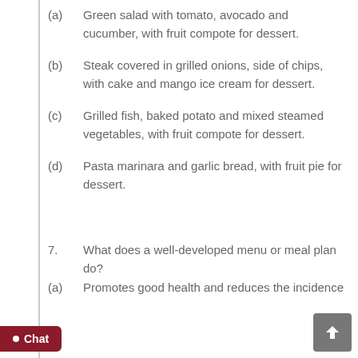(a)    Green salad with tomato, avocado and cucumber, with fruit compote for dessert.
(b)    Steak covered in grilled onions, side of chips, with cake and mango ice cream for dessert.
(c)    Grilled fish, baked potato and mixed steamed vegetables, with fruit compote for dessert.
(d)    Pasta marinara and garlic bread, with fruit pie for dessert.
7.    What does a well-developed menu or meal plan do?
(a)    Promotes good health and reduces the incidence